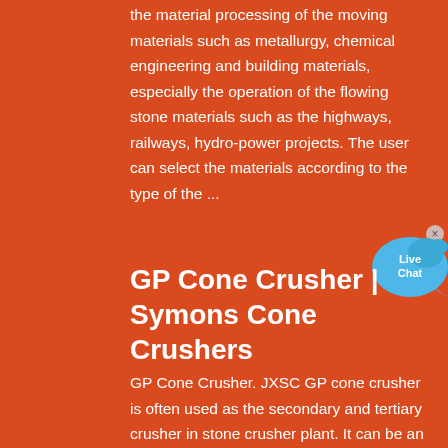the material processing of the moving materials such as metallurgy, chemical engineering and building materials, especially the operation of the flowing stone materials such as the highways, railways, hydro-power projects. The user can select the materials according to the type of the ...
[Figure (other): Live Chat button widget with speech bubble icon]
GP Cone Crusher | Symons Cone Crushers
GP Cone Crusher. JXSC GP cone crusher is often used as the secondary and tertiary crusher in stone crusher plant. It can be an excellent replacement for a gyratory crusher. The brilliant design makes it with high power level and crushing capability, and stable performance